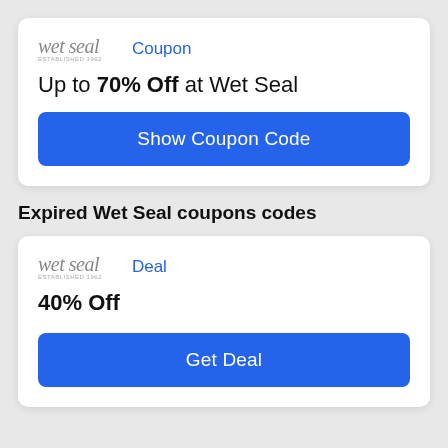[Figure (logo): Wet Seal cursive logo with tagline]
Coupon
Up to 70% Off at Wet Seal
Show Coupon Code
Expired Wet Seal coupons codes
[Figure (logo): Wet Seal cursive logo with tagline]
Deal
40% Off
Get Deal